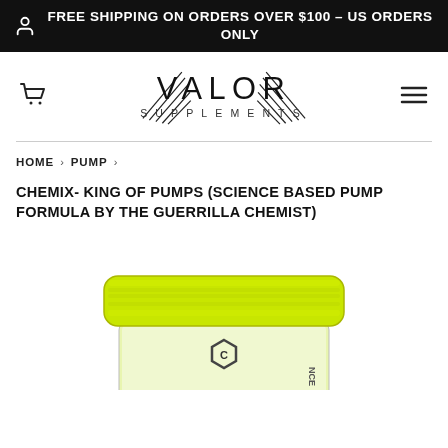FREE SHIPPING ON ORDERS OVER $100 - US ORDERS ONLY
[Figure (logo): Valor Supplements logo with decorative wing-like lines flanking the brand name]
HOME › PUMP ›
CHEMIX- KING OF PUMPS (SCIENCE BASED PUMP FORMULA BY THE GUERRILLA CHEMIST)
[Figure (photo): Supplement tub with bright yellow-green lid labeled CHEMIX with a hexagonal logo on the clear container]